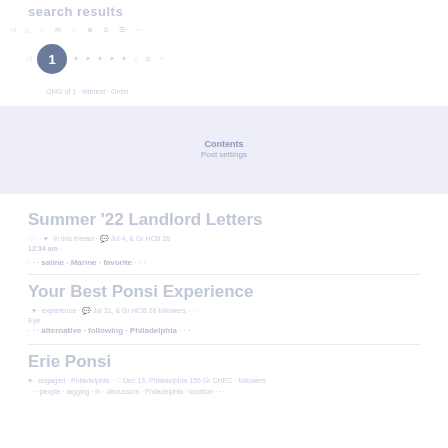search results
navigation bar with icons and avatar
[Figure (screenshot): Blue highlight banner with notification text]
Summer '22 Landlord Letters
post metadata line with timestamp 12:34 am
tags: saline, marine, favorite
Your Best Ponsi Experience
post metadata and description text
tags: alternative following Philadelphia
Erie Ponsi
post metadata line with timestamp and location tags, people tagging in discussion Philadelphia location